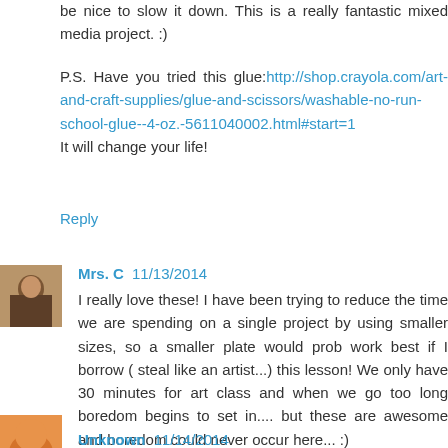be nice to slow it down. This is a really fantastic mixed media project. :)
P.S. Have you tried this glue:http://shop.crayola.com/art-and-craft-supplies/glue-and-scissors/washable-no-run-school-glue--4-oz.-5611040002.html#start=1 It will change your life!
Reply
Mrs. C  11/13/2014
I really love these! I have been trying to reduce the time we are spending on a single project by using smaller sizes, so a smaller plate would prob work best if I borrow ( steal like an artist...) this lesson! We only have 30 minutes for art class and when we go too long boredom begins to set in.... but these are awesome and boredom could never occur here... :)
Reply
Unknown  11/14/2014